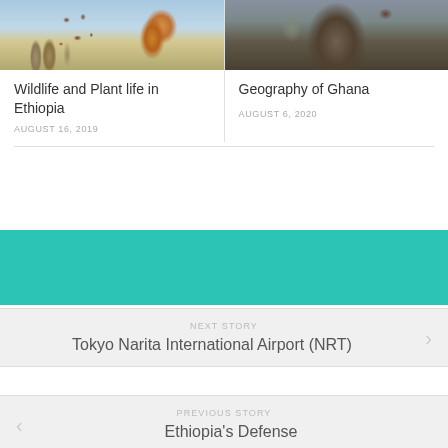[Figure (photo): Photo of a giraffe with cacti/trees in background, wildlife scene from Ethiopia]
[Figure (photo): Photo of an animal (possibly buffalo or wildebeest) in an enclosure, related to Ghana geography]
Wildlife and Plant life in Ethiopia
AUGUST 16, 2019
Geography of Ghana
AUGUST 6, 2020
[Figure (other): Teal/turquoise colored banner section]
NEXT STORY
Tokyo Narita International Airport (NRT)
PREVIOUS STORY
Ethiopia's Defense